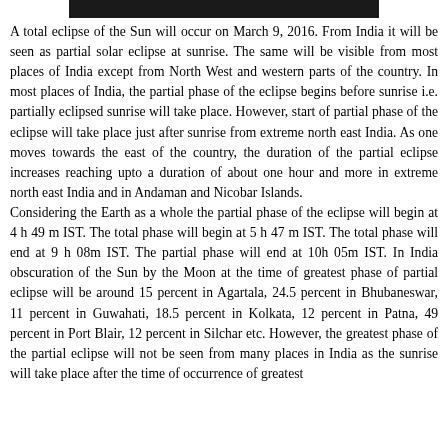[Figure (photo): Partial image strip at top of page, dark/black colored band]
A total eclipse of the Sun will occur on March 9, 2016. From India it will be seen as partial solar eclipse at sunrise. The same will be visible from most places of India except from North West and western parts of the country. In most places of India, the partial phase of the eclipse begins before sunrise i.e. partially eclipsed sunrise will take place. However, start of partial phase of the eclipse will take place just after sunrise from extreme north east India. As one moves towards the east of the country, the duration of the partial eclipse increases reaching upto a duration of about one hour and more in extreme north east India and in Andaman and Nicobar Islands.
Considering the Earth as a whole the partial phase of the eclipse will begin at 4 h 49 m IST. The total phase will begin at 5 h 47 m IST. The total phase will end at 9 h 08m IST. The partial phase will end at 10h 05m IST. In India obscuration of the Sun by the Moon at the time of greatest phase of partial eclipse will be around 15 percent in Agartala, 24.5 percent in Bhubaneswar, 11 percent in Guwahati, 18.5 percent in Kolkata, 12 percent in Patna, 49 percent in Port Blair, 12 percent in Silchar etc. However, the greatest phase of the partial eclipse will not be seen from many places in India as the sunrise will take place after the time of occurrence of greatest